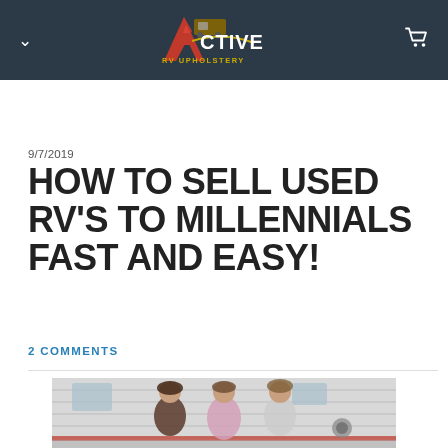Active RV Upholstery — site navigation header with logo and cart icon
9/7/2019
HOW TO SELL USED RV'S TO MILLENNIALS FAST AND EASY!
2 COMMENTS
[Figure (photo): Three young women smiling and posing together in front of a white RV / travel trailer outdoors]